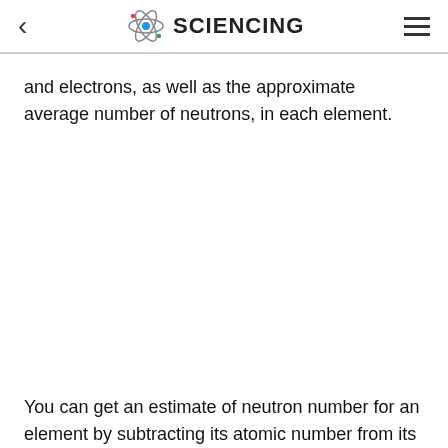SCIENCING
and electrons, as well as the approximate average number of neutrons, in each element.
You can get an estimate of neutron number for an element by subtracting its atomic number from its